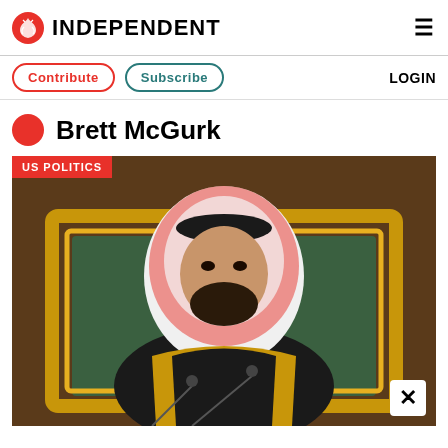INDEPENDENT
Contribute | Subscribe | LOGIN
Brett McGurk
[Figure (photo): A man wearing traditional Saudi Arabian dress (keffiyeh and bisht) sitting in front of an ornate gold-framed chair, speaking at a formal meeting with microphones in front of him. A red 'US POLITICS' badge overlays the top-left corner of the image.]